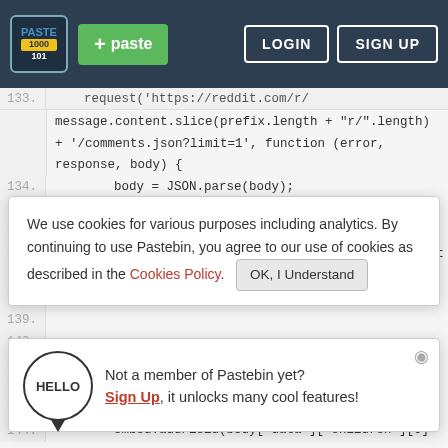[Figure (screenshot): Pastebin website navbar with logo, green paste button, LOGIN and SIGN UP buttons on dark blue background]
request('https://reddit.com/r/
message.content.slice(prefix.length + "r/".length)
+ '/comments.json?limit=1', function (error,
response, body) {
134.    body = JSON.parse(body);
135.    let embed = new Discord.RichEmbed();
136.    let status
137.    if(JSON.stringify(body) === '{"message":"Not
Found","error":404}') {
138.
139.
140.
141.
142.
143.
144.    embed.addField(body["data"]["children"][0]
[Figure (screenshot): Cookie consent popup: 'We use cookies for various purposes including analytics. By continuing to use Pastebin, you agree to our use of cookies as described in the Cookies Policy. OK, I Understand button.']
[Figure (screenshot): Hello speech bubble popup: 'Not a member of Pastebin yet? Sign Up, it unlocks many cool features!']